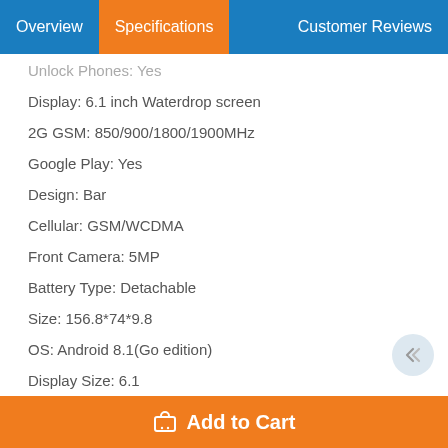Overview | Specifications | Customer Reviews
Unlock Phones: Yes
Display: 6.1 inch Waterdrop screen
2G GSM: 850/900/1800/1900MHz
Google Play: Yes
Design: Bar
Cellular: GSM/WCDMA
Front Camera: 5MP
Battery Type: Detachable
Size: 156.8*74*9.8
OS: Android 8.1(Go edition)
Display Size: 6.1
Battery Capacity(mAh): 4080mAh
Package Included:
1 x A60 Smartphone
1 x EU Charger
Add to Cart